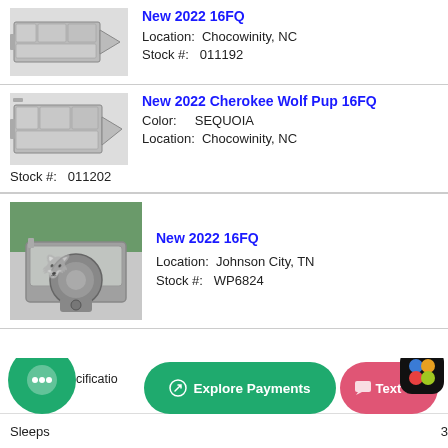[Figure (illustration): Floor plan schematic of travel trailer (top-down view)]
New 2022 16FQ
Location:  Chocowinity, NC
Stock #:   011192
[Figure (illustration): Floor plan schematic of travel trailer (top-down view)]
New 2022 Cherokee Wolf Pup 16FQ
Color:   SEQUOIA
Location:  Chocowinity, NC
Stock #:   011202
[Figure (photo): Front exterior photo of silver travel trailer (RV) parked outdoors]
New 2022 16FQ
Location:  Johnson City, TN
Stock #:   WP6824
Explore Payments
Text us!
Sleeps
3